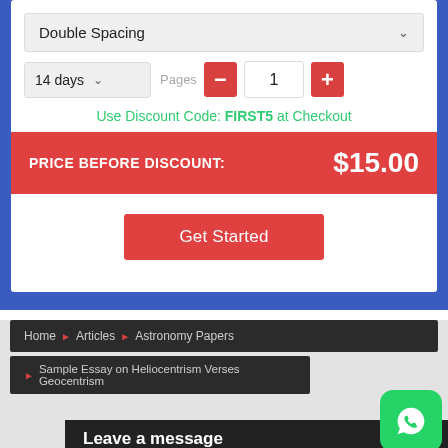Double Spacing
14 days   Pages   1
Use Discount Code: FIRST5 at Checkout
PRICE BEFORE DISCOUNT:   $15.00
Get Started
Home  ▶  Articles  ▶  Astronomy Papers
▶  Sample Essay on Heliocentrism Verses Geocentrism
Leave a message